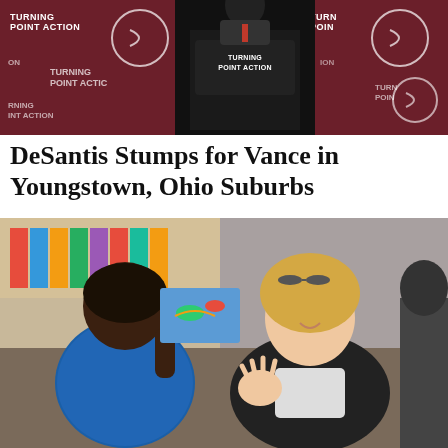[Figure (photo): A person speaking at a Turning Point Action podium with a dark backdrop showing repeated Turning Point Action logos]
DeSantis Stumps for Vance in Youngstown, Ohio Suburbs
[Figure (photo): A blonde woman in a black jacket interacting with a young child in a classroom setting; colorful books visible in the background]